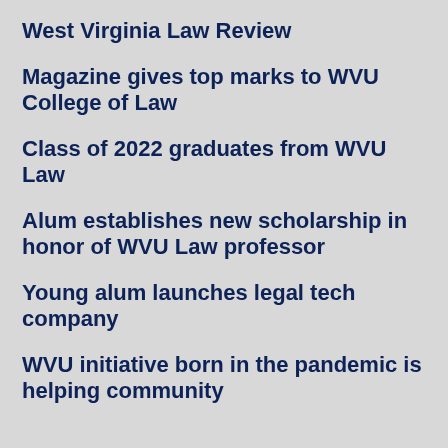West Virginia Law Review
Magazine gives top marks to WVU College of Law
Class of 2022 graduates from WVU Law
Alum establishes new scholarship in honor of WVU Law professor
Young alum launches legal tech company
WVU initiative born in the pandemic is helping community